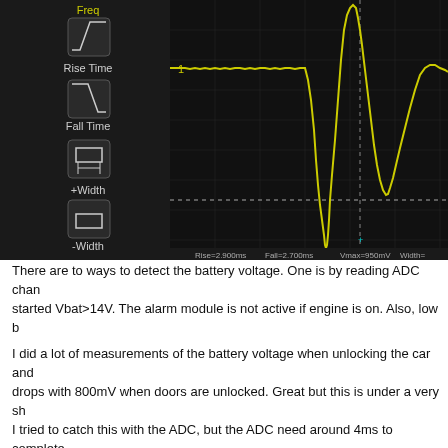[Figure (continuous-plot): Oscilloscope screenshot showing a waveform (yellow) on a dark grid background with measurement panel on the left. The waveform shows a flat line that transitions into a large sinusoidal-like transient pulse — first dipping negative then rising to a peak, then returning. Vertical dashed cursor line visible. Left panel shows measurement mode icons: Freq, Rise Time, Fall Time, +Width, -Width.]
There are to ways to detect the battery voltage. One is by reading ADC chan started Vbat>14V. The alarm module is not active if engine is on. Also, low b
I did a lot of measurements of the battery voltage when unlocking the car and drops with 800mV when doors are unlocked. Great but this is under a very sh I tried to catch this with the ADC, but the ADC need around 4ms to complete was fast enough to handle this fast transient.
Every time this pulse is detected the software goes into a delay loop for 10m the alarm.